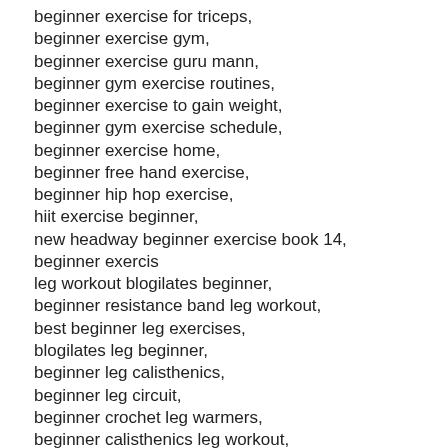beginner exercise for triceps,
beginner exercise gym,
beginner exercise guru mann,
beginner gym exercise routines,
beginner exercise to gain weight,
beginner gym exercise schedule,
beginner exercise home,
beginner free hand exercise,
beginner hip hop exercise,
hiit exercise beginner,
new headway beginner exercise book 14,
beginner exercis
leg workout blogilates beginner,
beginner resistance band leg workout,
best beginner leg exercises,
blogilates leg beginner,
beginner leg calisthenics,
beginner leg circuit,
beginner crochet leg warmers,
beginner calisthenics leg workout,
chris heria beginner leg,